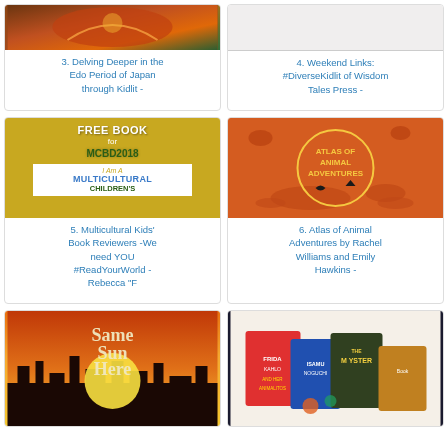[Figure (photo): Book cover for Edo Period Japan children's book]
3. Delving Deeper in the Edo Period of Japan through Kidlit -
[Figure (photo): Blank/white book cover image]
4. Weekend Links: #DiverseKidlit of Wisdom Tales Press -
[Figure (photo): FREE BOOK for MCBD2018 - I Am A Multicultural Children's book cover in gold and white]
5. Multicultural Kids' Book Reviewers -We need YOU #ReadYourWorld - Rebecca "F
[Figure (photo): Atlas of Animal Adventures by Rachel Williams and Emily Hawkins - orange circular cover with animals]
6. Atlas of Animal Adventures by Rachel Williams and Emily Hawkins -
[Figure (photo): Same Sun Here book cover - orange and yellow with city skyline]
[Figure (photo): Collection of diverse children's books including Frida Kahlo and others]